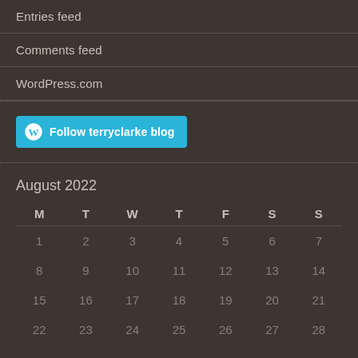Entries feed
Comments feed
WordPress.com
[Figure (other): Follow terryclarke blog button with WordPress logo]
| M | T | W | T | F | S | S |
| --- | --- | --- | --- | --- | --- | --- |
| 1 | 2 | 3 | 4 | 5 | 6 | 7 |
| 8 | 9 | 10 | 11 | 12 | 13 | 14 |
| 15 | 16 | 17 | 18 | 19 | 20 | 21 |
| 22 | 23 | 24 | 25 | 26 | 27 | 28 |